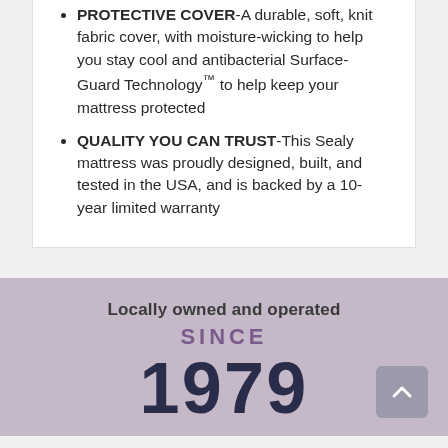PROTECTIVE COVER-A durable, soft, knit fabric cover, with moisture-wicking to help you stay cool and antibacterial Surface-Guard Technology™ to help keep your mattress protected
QUALITY YOU CAN TRUST-This Sealy mattress was proudly designed, built, and tested in the USA, and is backed by a 10-year limited warranty
Locally owned and operated
SINCE
1979